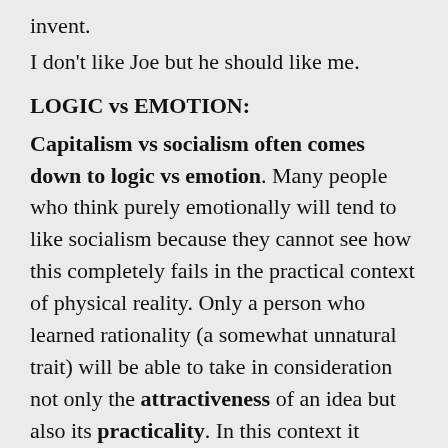invent.
I don't like Joe but he should like me.
LOGIC vs EMOTION:
Capitalism vs socialism often comes down to logic vs emotion. Many people who think purely emotionally will tend to like socialism because they cannot see how this completely fails in the practical context of physical reality. Only a person who learned rationality (a somewhat unnatural trait) will be able to take in consideration not only the attractiveness of an idea but also its practicality. In this context it means its consistency with the laws of